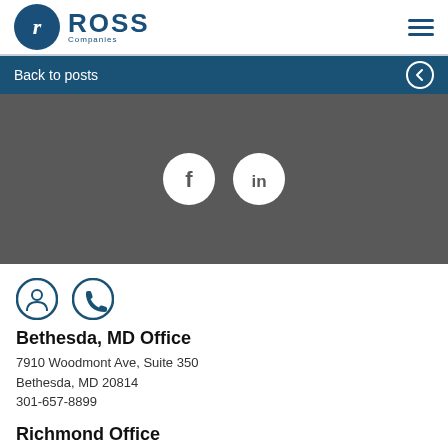[Figure (logo): Ross Companies logo with circular 'r' emblem and company name]
Back to posts
[Figure (illustration): Dark grey section with Facebook and LinkedIn social media icons (white circles with f and in symbols)]
[Figure (illustration): Location pin icon and phone icon]
Bethesda, MD Office
7910 Woodmont Ave, Suite 350
Bethesda, MD 20814
301-657-8899
Richmond Office
Haxall View Bldg
11 South 21st Street, Suite 004
Richmond, VA 23223
804-434-3600